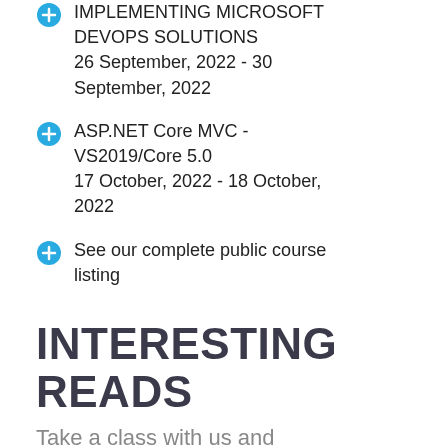IMPLEMENTING MICROSOFT DEVOPS SOLUTIONS
26 September, 2022 - 30 September, 2022
ASP.NET Core MVC - VS2019/Core 5.0
17 October, 2022 - 18 October, 2022
See our complete public course listing
INTERESTING READS
Take a class with us and receive a book of your